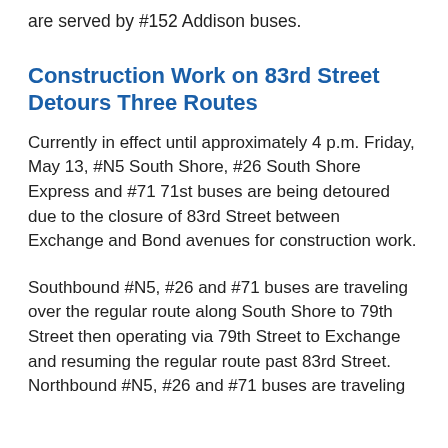are served by #152 Addison buses.
Construction Work on 83rd Street Detours Three Routes
Currently in effect until approximately 4 p.m. Friday, May 13, #N5 South Shore, #26 South Shore Express and #71 71st buses are being detoured due to the closure of 83rd Street between Exchange and Bond avenues for construction work.
Southbound #N5, #26 and #71 buses are traveling over the regular route along South Shore to 79th Street then operating via 79th Street to Exchange and resuming the regular route past 83rd Street. Northbound #N5, #26 and #71 buses are traveling